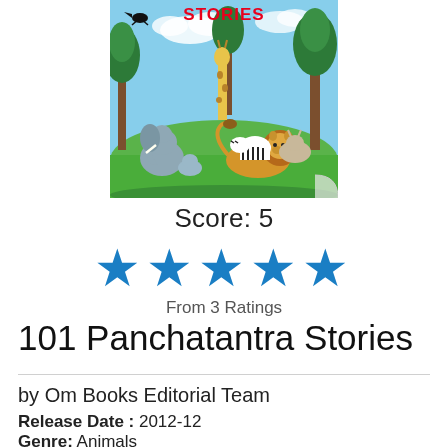[Figure (illustration): Book cover of 101 Panchatantra Stories showing cartoon jungle animals including a lion, giraffe, zebra, elephant, and a crow flying, with trees and sky in background. Title word STORIES visible in red at top.]
Score: 5
[Figure (infographic): Five blue star rating icons]
From 3 Ratings
101 Panchatantra Stories
by Om Books Editorial Team
Release Date : 2012-12
Genre: Animals